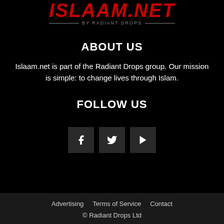[Figure (logo): ISLAAM.NET logo in red italic bold text with 'BY RADIANT DROPS' tagline below in grey, with a mosque icon]
ABOUT US
Islaam.net is part of the Radiant Drops group. Our mission is simple: to change lives through Islam.
FOLLOW US
[Figure (infographic): Three social media icon boxes: Facebook (f), Twitter (bird), YouTube (play button)]
Advertising   Terms of Service   Contact
© Radiant Drops Ltd